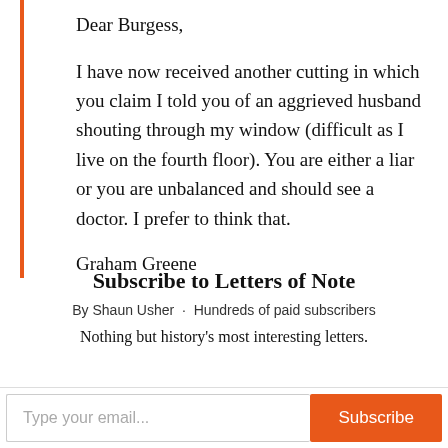Dear Burgess,
I have now received another cutting in which you claim I told you of an aggrieved husband shouting through my window (difficult as I live on the fourth floor). You are either a liar or you are unbalanced and should see a doctor. I prefer to think that.
Graham Greene
Subscribe to Letters of Note
By Shaun Usher · Hundreds of paid subscribers
Nothing but history's most interesting letters.
Type your email... Subscribe